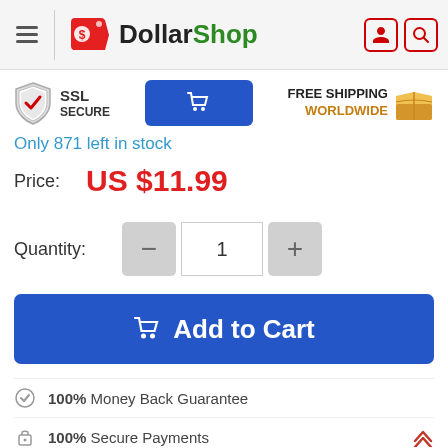DollarShop
[Figure (logo): DollarShop logo with red tag icon and green/dark text]
Only 871 left in stock
Price: US $11.99
Quantity: 1
Add to Cart
100% Money Back Guarantee
100% Secure Payments